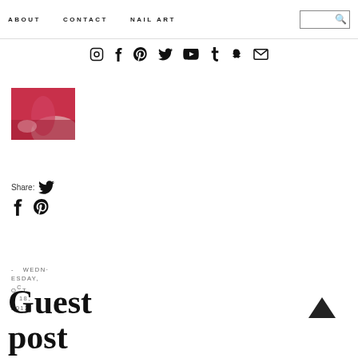ABOUT   CONTACT   NAIL ART
[Figure (infographic): Social media icons row: Instagram, Facebook, Pinterest, Twitter, YouTube, Tumblr, Snapchat, Email]
[Figure (photo): Thumbnail image of red/pink nail art on a hand]
Share:
[Figure (infographic): Share icons: Twitter (bird), Facebook (f), Pinterest (P)]
- WEDNESDAY, OCTOBER 18, 2012
Guest post at Posh for